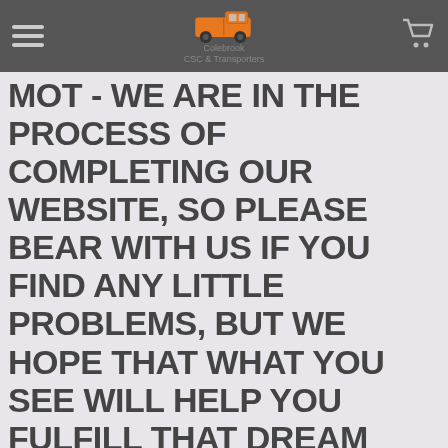Colebrook CSC & Transporters [logo with van icon, hamburger menu, cart icon]
MOT - WE ARE IN THE PROCESS OF COMPLETING OUR WEBSITE, SO PLEASE BEAR WITH US IF YOU FIND ANY LITTLE PROBLEMS, BUT WE HOPE THAT WHAT YOU SEE WILL HELP YOU FULFILL THAT DREAM THAT WE AT COLEBROOK CSC & TRANSPORTERS CAN MAKE COME TRUE.
Colebrook Car Service Centre & Transporters  can help with any vehicle from air cooled to modern day vehicles specialising in VW. We can help you with mechanical and electrical repairs, MOTs and servicing. As well as the mechanical side of the business we can turn your van into a day camper or a full blown campervan through our van conversion centre, be it just carpeting through to pop tops